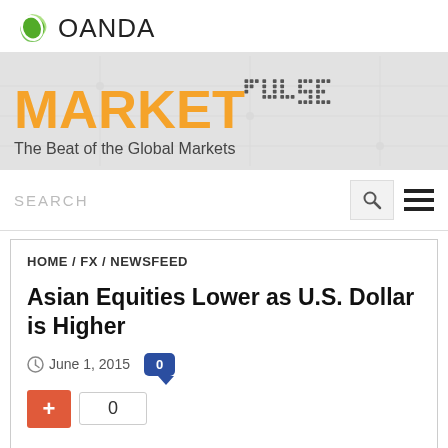[Figure (logo): OANDA logo with green swoosh icon and OANDA text]
[Figure (logo): MarketPulse banner with orange MARKET text and dot-matrix PULSE text on grey background, subtitle: The Beat of the Global Markets]
SEARCH
HOME / FX / NEWSFEED
Asian Equities Lower as U.S. Dollar is Higher
June 1, 2015   0
+ 0
The dollar tested a 12-1/2-year peak against the yen on Tuesday after a spate of mostly upbeat U.S. data reinforced